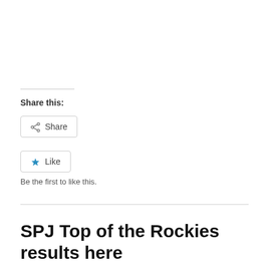Share this:
Share
Like
Be the first to like this.
SPJ Top of the Rockies results here
APRIL 26, 2014 · 2 COMMENTS